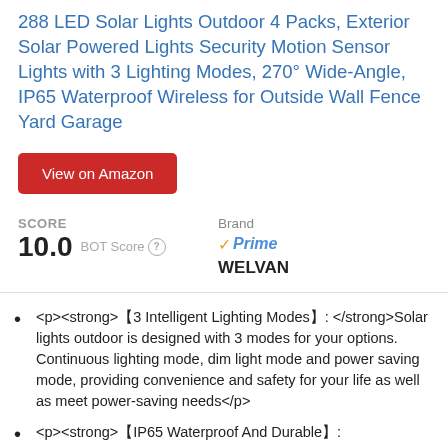288 LED Solar Lights Outdoor 4 Packs, Exterior Solar Powered Lights Security Motion Sensor Lights with 3 Lighting Modes, 270° Wide-Angle, IP65 Waterproof Wireless for Outside Wall Fence Yard Garage
View on Amazon
SCORE 10.0 BOT Score | Brand ✓Prime WELVAN
<p><strong>【3 Intelligent Lighting Modes】: </strong>Solar lights outdoor is designed with 3 modes for your options. Continuous lighting mode, dim light mode and power saving mode, providing convenience and safety for your life as well as meet power-saving needs</p>
<p><strong>【IP65 Waterproof And Durable】: